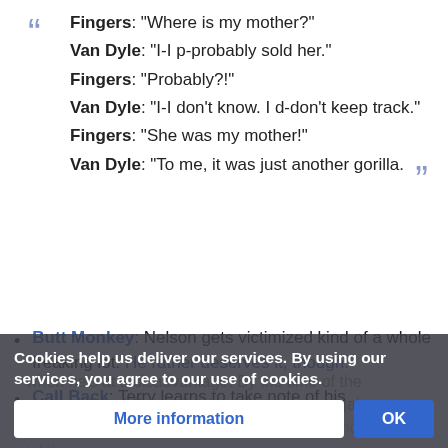Fingers: "Where is my mother?" Van Dyle: "I-I p-probably sold her." Fingers: "Probably?!" Van Dyle: "I-I don't know. I d-don't keep track." Fingers: "She was my mother!" Van Dyle: "To me, it was just another gorilla.
Butt Monkey: Nelson gets victimized kind of a whole freaking lot. He rather deserves it, though.
Call Back: Terry learns to take note of his surroundings
Cookies help us deliver our services. By using our services, you agree to our use of cookies.